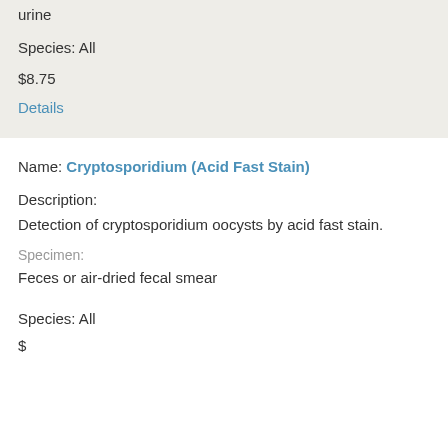urine
Species: All
$8.75
Details
Name: Cryptosporidium (Acid Fast Stain)
Description:
Detection of cryptosporidium oocysts by acid fast stain.
Specimen:
Feces or air-dried fecal smear
Species: All
$